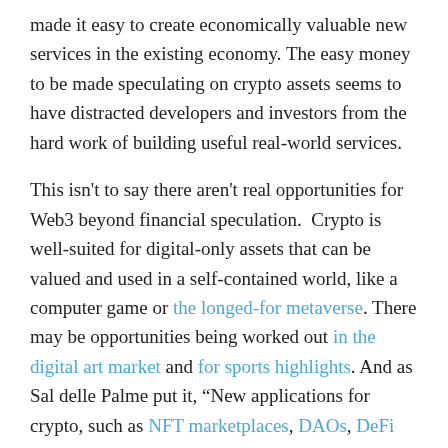made it easy to create economically valuable new services in the existing economy. The easy money to be made speculating on crypto assets seems to have distracted developers and investors from the hard work of building useful real-world services.
This isn't to say there aren't real opportunities for Web3 beyond financial speculation.  Crypto is well-suited for digital-only assets that can be valued and used in a self-contained world, like a computer game or the longed-for metaverse. There may be opportunities being worked out in the digital art market and for sports highlights. And as Sal delle Palme put it, "New applications for crypto, such as NFT marketplaces, DAOs, DeFi and DEXs, CeFi, charities, GameFi, DeSo, etc., are being invented, funded (often by the crowd), built, and shipped with blinding speed." But we're a long way from the birth of an entirely new economic system.